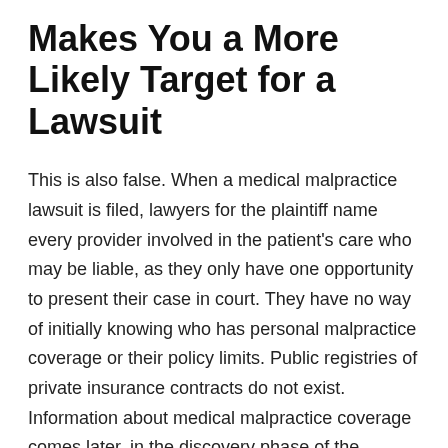Makes You a More Likely Target for a Lawsuit
This is also false. When a medical malpractice lawsuit is filed, lawyers for the plaintiff name every provider involved in the patient's care who may be liable, as they only have one opportunity to present their case in court. They have no way of initially knowing who has personal malpractice coverage or their policy limits. Public registries of private insurance contracts do not exist. Information about medical malpractice coverage comes later, in the discovery phase of the litigation process.